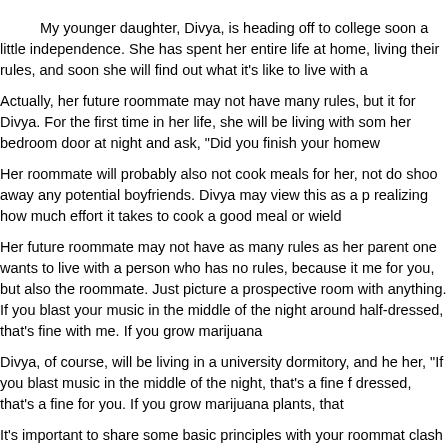My younger daughter, Divya, is heading off to college soon a little independence. She has spent her entire life at home, living their rules, and soon she will find out what it's like to live with a
Actually, her future roommate may not have many rules, but it for Divya. For the first time in her life, she will be living with som her bedroom door at night and ask, "Did you finish your homew
Her roommate will probably also not cook meals for her, not do shoo away any potential boyfriends. Divya may view this as a p realizing how much effort it takes to cook a good meal or wield
Her future roommate may not have as many rules as her parent one wants to live with a person who has no rules, because it me for you, but also the roommate. Just picture a prospective room with anything. If you blast your music in the middle of the night around half-dressed, that's fine with me. If you grow marijuana
Divya, of course, will be living in a university dormitory, and he her, "If you blast music in the middle of the night, that's a fine f dressed, that's a fine for you. If you grow marijuana plants, that
It's important to share some basic principles with your roommat clash with them. That's why many people conduct interviews be apartment with a stranger. Being able to pay your share of the as is the willingness to take an occasional shower.
A Twitter user named Astha recently shared some questions she